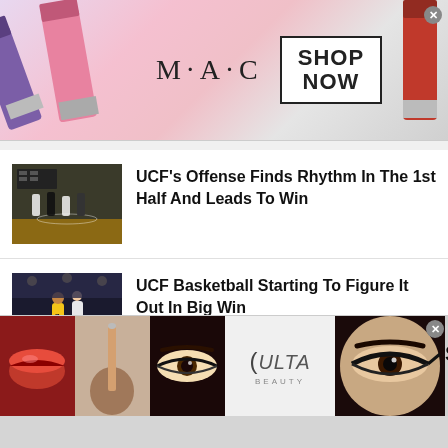[Figure (screenshot): MAC cosmetics advertisement banner with lipsticks and SHOP NOW button]
UCF's Offense Finds Rhythm In The 1st Half And Leads To Win
UCF Basketball Starting To Figure It Out In Big Win
UCF's Offense Up And Down In 3rd Straight Loss
[Figure (screenshot): Ulta Beauty advertisement banner with makeup photos and SHOP NOW button]